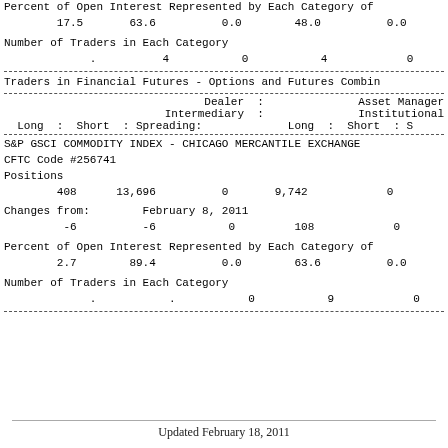| Percent of Open Interest Represented by Each Category of |
| 17.5 | 63.6 | 0.0 | 48.0 | 0.0 |
Number of Traders in Each Category
| . | 4 | 0 | 4 | 0 |
Traders in Financial Futures - Options and Futures Combin
| Dealer | : |  | Asset Manager | Intermediary | : |  | Institutional | Long : Short : Spreading: | Long : Short : S |
| --- | --- | --- | --- | --- | --- | --- | --- | --- | --- |
S&P GSCI COMMODITY INDEX - CHICAGO MERCANTILE EXCHANGE
CFTC Code #256741
Positions
| 408 | 13,696 | 0 | 9,742 | 0 |
Changes from:      February 8, 2011
| -6 | -6 | 0 | 108 | 0 |
Percent of Open Interest Represented by Each Category of
| 2.7 | 89.4 | 0.0 | 63.6 | 0.0 |
Number of Traders in Each Category
| . | . | 0 | 9 | 0 |
Updated February 18, 2011